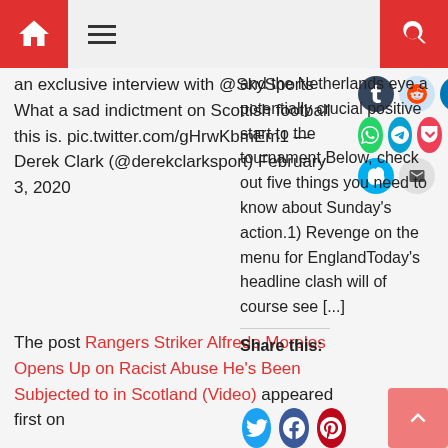Navigation bar with home icon, hamburger menu, and search icon
an exclusive interview with @SkySports What a sad indictment on Scottish football this is. pic.twitter.com/gHrwKbmEm1 — Derek Clark (@derekclarksport) February 3, 2020
[Figure (infographic): Social sharing icons: Tumblr, Reddit, LinkedIn, WhatsApp, Telegram, Pocket, Skype, Email]
The post Rangers Striker Alfredo Morelos Opens Up on Racist Abuse He's Been Subjected to in Scotland (Video) appeared first on
and the Netherlands eye a potentially crucial positive start to the tournament.Below, check out five things you need to know about Sunday's action.1) Revenge on the menu for EnglandToday's headline clash will of course see [...]
Share this:
[Figure (infographic): Share buttons: Twitter, Facebook, Pinterest]